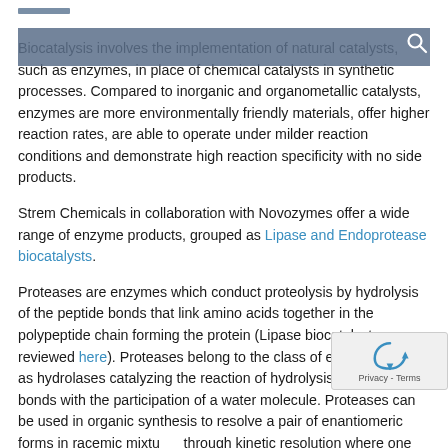Biocatalysis involves the implementation of natural catalysts, such as enzymes, in place of chemical catalysts in synthetic processes. Compared to inorganic and organometallic catalysts, enzymes are more environmentally friendly materials, offer higher reaction rates, are able to operate under milder reaction conditions and demonstrate high reaction specificity with no side products.
Strem Chemicals in collaboration with Novozymes offer a wide range of enzyme products, grouped as Lipase and Endoprotease biocatalysts.
Proteases are enzymes which conduct proteolysis by hydrolysis of the peptide bonds that link amino acids together in the polypeptide chain forming the protein (Lipase biocatalysts are reviewed here). Proteases belong to the class of enzymes known as hydrolases catalyzing the reaction of hydrolysis of various bonds with the participation of a water molecule. Proteases can be used in organic synthesis to resolve a pair of enantiomeric forms in racemic mixtures through kinetic resolution where one enantiomer in the mixture is more rapidly transformed than the other.1,2